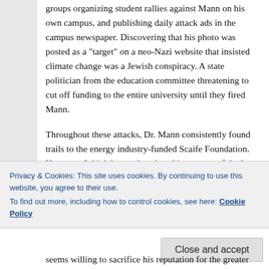groups organizing student rallies against Mann on his own campus, and publishing daily attack ads in the campus newspaper. Discovering that his photo was posted as a “target” on a neo-Nazi website that insisted climate change was a Jewish conspiracy. A state politician from the education committee threatening to cut off funding to the entire university until they fired Mann.
Throughout these attacks, Dr. Mann consistently found trails to the energy industry-funded Scaife Foundation. However, I think he needs to be a bit more careful when he talks about the links between oil companies and climate change denial – the relationship is well-known, but it’s easy to come off sounding like a conspiracy theorist. Naomi Oreskes does a better job of communicating this
Privacy & Cookies: This site uses cookies. By continuing to use this website, you agree to their use.
To find out more, including how to control cookies, see here: Cookie Policy
seems willing to sacrifice his reputation for the greater